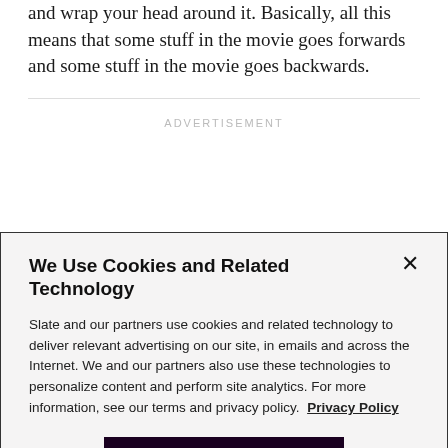and wrap your head around it. Basically, all this means that some stuff in the movie goes forwards and some stuff in the movie goes backwards.
ADVERTISEMENT
We Use Cookies and Related Technology
Slate and our partners use cookies and related technology to deliver relevant advertising on our site, in emails and across the Internet. We and our partners also use these technologies to personalize content and perform site analytics. For more information, see our terms and privacy policy.  Privacy Policy
OK